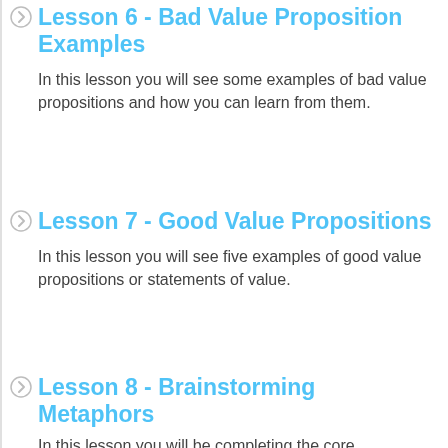Lesson 6 - Bad Value Proposition Examples
In this lesson you will see some examples of bad value propositions and how you can learn from them.
Lesson 7 - Good Value Propositions
In this lesson you will see five examples of good value propositions or statements of value.
Lesson 8 - Brainstorming Metaphors
In this lesson you will be completing the core